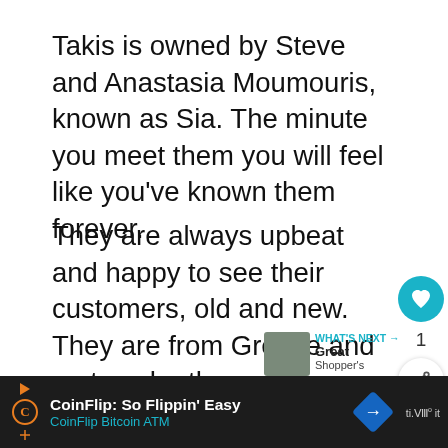Takis is owned by Steve and Anastasia Moumouris, known as Sia. The minute you meet them you will feel like you've known them forever.
They are always upbeat and happy to see their customers, old and new.  They are from Greece and met each other many years ago while working in a family restaurant.
Steve was a dishwasher and Sia was a server.  Needless to say, they know the restaurant business inside out.
[Figure (screenshot): UI overlay with heart/like button (teal circle with heart icon), like count '1', and share button]
[Figure (screenshot): WHAT'S NEXT arrow label with thumbnail image and text 'Great...']
[Figure (screenshot): Advertisement bar at bottom: CoinFlip: So Flippin' Easy / CoinFlip Bitcoin ATM with orange C logo and blue diamond sign icon]